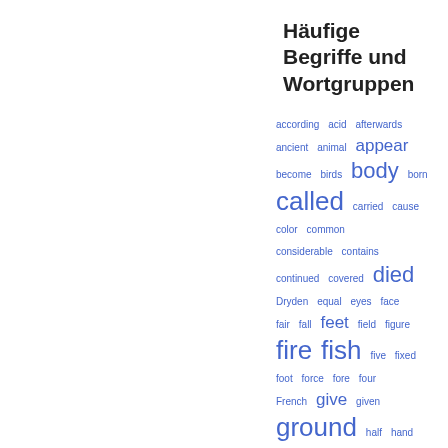Häufige Begriffe und Wortgruppen
[Figure (infographic): Word cloud showing frequently used terms and word groups in blue, with varying font sizes indicating relative frequency. Words include: according, acid, afterwards, ancient, animal, appear, become, birds, body, born, called, carried, cause, color, common, considerable, contains, continued, covered, died, Dryden, equal, eyes, face, fair, fall, feet, field, figure, fire, fish, five, fixed, foot, force, fore, four, French, give, given, ground, half, hand, head, heat, hence, History]